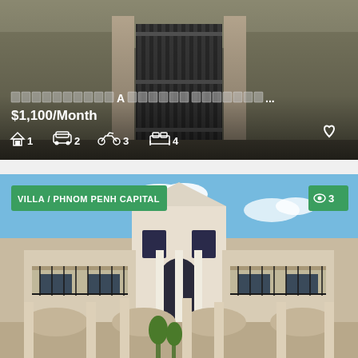[Figure (photo): Top property listing card showing a residential property with iron gate exterior, dark toned photo. Overlaid text shows a Khmer-script title (rendered as placeholder blocks), price $1,100/Month, and amenity icons: house 1, car 2, motorbike 3, bed 4. Heart/favorite icon at bottom right.]
[Figure (photo): Bottom property listing card showing a large white colonial-style villa with blue sky. Green badge top-left reads 'VILLA / PHNOM PENH CAPITAL'. Green views badge top-right shows eye icon and '3'.]